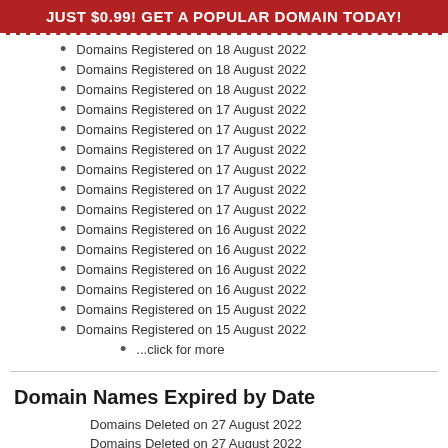JUST $0.99! GET A POPULAR DOMAIN TODAY!
Domains Registered on 18 August 2022
Domains Registered on 18 August 2022
Domains Registered on 18 August 2022
Domains Registered on 17 August 2022
Domains Registered on 17 August 2022
Domains Registered on 17 August 2022
Domains Registered on 17 August 2022
Domains Registered on 17 August 2022
Domains Registered on 17 August 2022
Domains Registered on 16 August 2022
Domains Registered on 16 August 2022
Domains Registered on 16 August 2022
Domains Registered on 16 August 2022
Domains Registered on 15 August 2022
Domains Registered on 15 August 2022
...click for more
Domain Names Expired by Date
Domains Deleted on 27 August 2022
Domains Deleted on 27 August 2022
Domains Deleted on 26 August 2022